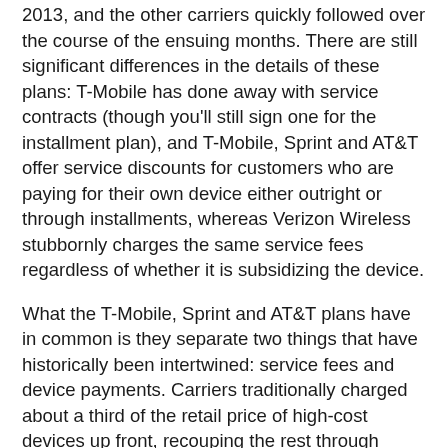2013, and the other carriers quickly followed over the course of the ensuing months. There are still significant differences in the details of these plans: T-Mobile has done away with service contracts (though you'll still sign one for the installment plan), and T-Mobile, Sprint and AT&T offer service discounts for customers who are paying for their own device either outright or through installments, whereas Verizon Wireless stubbornly charges the same service fees regardless of whether it is subsidizing the device.
What the T-Mobile, Sprint and AT&T plans have in common is they separate two things that have historically been intertwined: service fees and device payments. Carriers traditionally charged about a third of the retail price of high-cost devices up front, recouping the rest through service fees over the course of a two-year contract. Many customers didn't really understand the true cost of the device as a result, and the model also meant customers who held onto a device beyond the standard upgrade cycle were paying the carrier far more than the cost of the device. As such, the switch to installment plans is a good thing for consumers, because it introduces transparency over the relative costs of service and hardware.